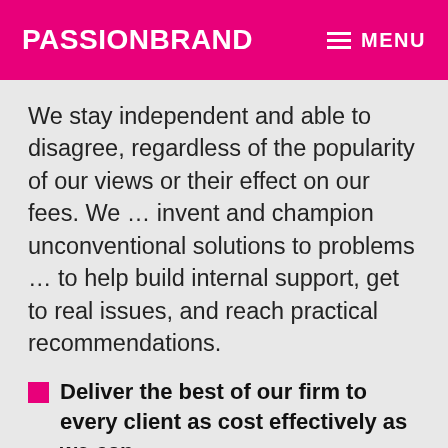PASSIONBRAND   ≡ MENU
We stay independent and able to disagree, regardless of the popularity of our views or their effect on our fees. We … invent and champion unconventional solutions to problems … to help build internal support, get to real issues, and reach practical recommendations.
Deliver the best of our firm to every client as cost effectively as we can
We expect our people to spend clients' and our firm's resources as if their own resources were at stake.